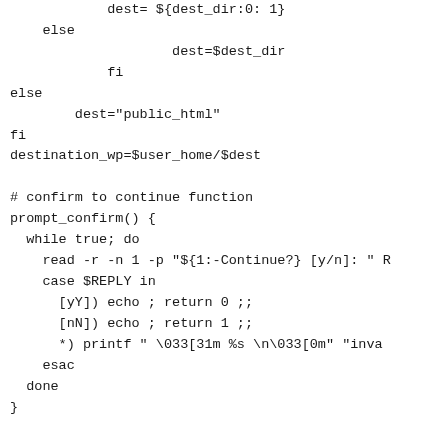dest= ${dest_dir:0: 1}
    else
                dest=$dest_dir
        fi
else
        dest="public_html"
fi
destination_wp=$user_home/$dest

# confirm to continue function
prompt_confirm() {
  while true; do
    read -r -n 1 -p "${1:-Continue?} [y/n]: " R
    case $REPLY in
      [yY]) echo ; return 0 ;;
      [nN]) echo ; return 1 ;;
      *) printf " \033[31m %s \n\033[0m" "inval
    esac
  done
}